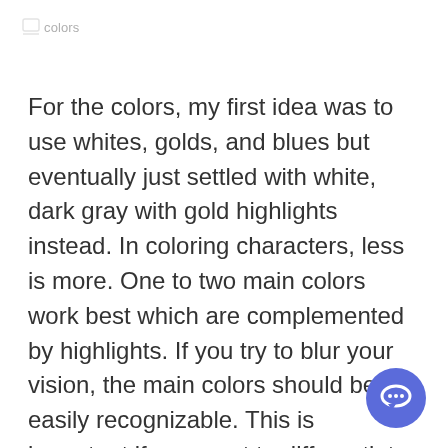colors
For the colors, my first idea was to use whites, golds, and blues but eventually just settled with white, dark gray with gold highlights instead. In coloring characters, less is more. One to two main colors work best which are complemented by highlights. If you try to blur your vision, the main colors should be easily recognizable. This is important if you want to differentiate characters from each other.
A good example are the characters from Overwatch. Tracer for example has two main